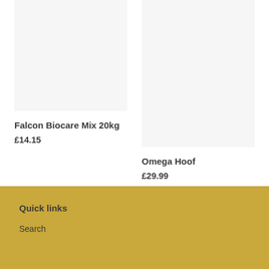[Figure (photo): Product image placeholder for Falcon Biocare Mix 20kg, light grey background]
Falcon Biocare Mix 20kg
£14.15
[Figure (photo): Product image placeholder for Omega Hoof, light grey background]
Omega Hoof
£29.99
Quick links
Search